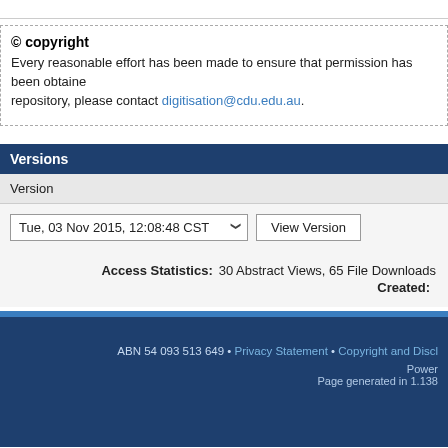© copyright
Every reasonable effort has been made to ensure that permission has been obtained repository, please contact digitisation@cdu.edu.au.
Versions
Version
Tue, 03 Nov 2015, 12:08:48 CST   View Version
Access Statistics: 30 Abstract Views, 65 File Downloads
Created:
ABN 54 093 513 649 • Privacy Statement • Copyright and Discl
Powered
Page generated in 1.138